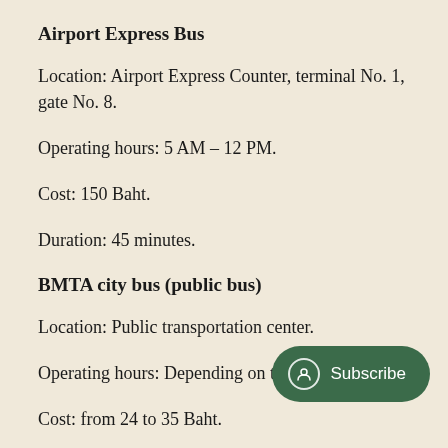Airport Express Bus
Location: Airport Express Counter, terminal No. 1, gate No. 8.
Operating hours: 5 AM – 12 PM.
Cost: 150 Baht.
Duration: 45 minutes.
BMTA city bus (public bus)
Location: Public transportation center.
Operating hours: Depending on the
Cost: from 24 to 35 Baht.